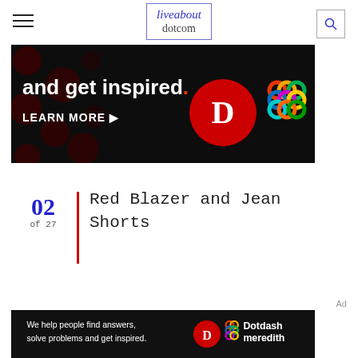liveabout dotcom
[Figure (other): Dotdash Meredith advertisement banner: dark background with red dots pattern, text 'and get inspired.' with red period, 'LEARN MORE' button, Dotdash D logo in red circle, and colorful knot/chain logo]
02 of 27
Red Blazer and Jean Shorts
[Figure (other): Dotdash Meredith advertisement banner: dark background, text 'We help people find answers, solve problems and get inspired.' with Dotdash D logo and Dotdash meredith wordmark]